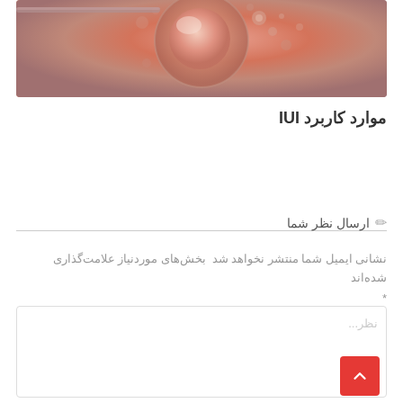[Figure (photo): Close-up macro photo of a biological cell or embryo with orange/salmon background, showing a spherical structure with surrounding smaller bubbles]
موارد کاربرد IUI
ارسال نظر شما
نشانی ایمیل شما منتشر نخواهد شد بخش‌های موردنیاز علامت‌گذاری شده‌اند *